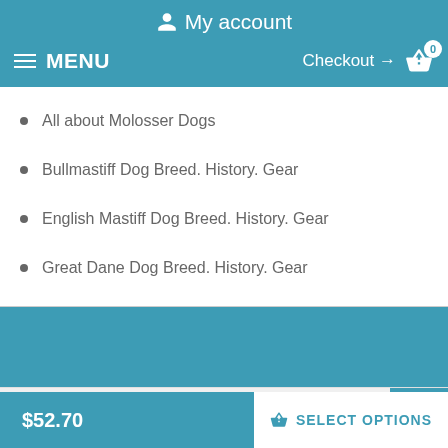My account
MENU   Checkout → 0
All about Molosser Dogs
Bullmastiff Dog Breed. History. Gear
English Mastiff Dog Breed. History. Gear
Great Dane Dog Breed. History. Gear
INFORMATION
$52.70   SELECT OPTIONS